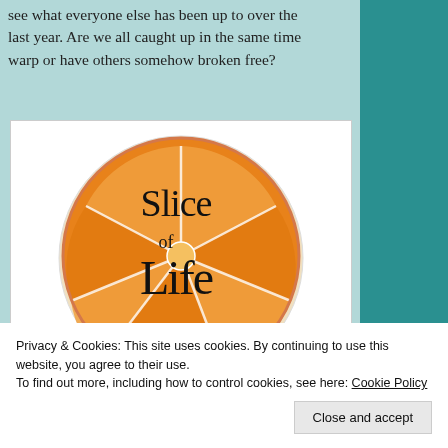see what everyone else has been up to over the last year. Are we all caught up in the same time warp or have others somehow broken free?
[Figure (logo): Slice of Life logo — an orange citrus slice cookie with the text 'Slice of Life' and URL http://twowritingteachers.org]
Privacy & Cookies: This site uses cookies. By continuing to use this website, you agree to their use.
To find out more, including how to control cookies, see here: Cookie Policy
Close and accept